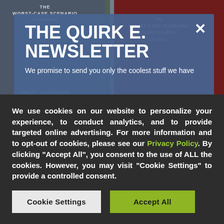[Figure (screenshot): Background showing blurred book covers — left cover has dark olive/green background with 'THE WORST-CASE SCENARIO ALMANAC' text, right cover has dark red background with 'THE WORST-CASE SCENARIO Survival Handbook DATING' text]
THE QUIRK E. NEWSLETTER
We promise to send you only the coolest stuff we have
We use cookies on our website to personalize your experience, to conduct analytics, and to provide targeted online advertising. For more information and to opt-out of cookies, please see our Privacy Policy. By clicking "Accept All", you consent to the use of ALL the cookies. However, you may visit "Cookie Settings" to provide a controlled consent.
Cookie Settings
Accept All